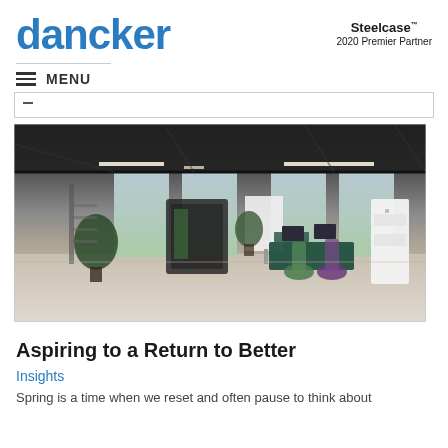dancker | Steelcase 2020 Premier Partner
MENU
[Figure (photo): Modern open office space with workstations, ergonomic chairs, privacy pods, green plants, and large windows with natural light. Light wood flooring with concrete ceiling and architectural lighting.]
Aspiring to a Return to Better
Insights
Spring is a time when we reset and often pause to think about